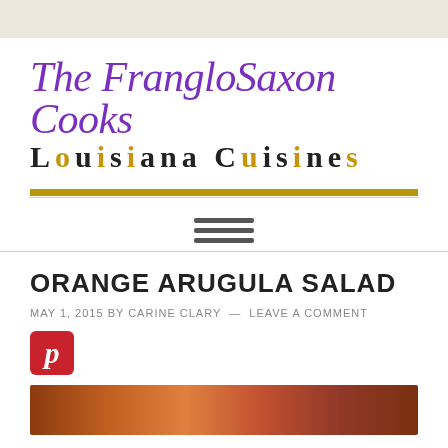[Figure (logo): The FrangloSaxon Cooks - Louisiana Cuisines website logo with purple italic script and bold spaced text]
[Figure (other): Hamburger menu icon with three horizontal bars]
ORANGE ARUGULA SALAD
MAY 1, 2015 BY CARINE CLARY — LEAVE A COMMENT
[Figure (other): Pinterest share button (red rounded square with italic P)]
[Figure (photo): Food photo partially visible at bottom of page]